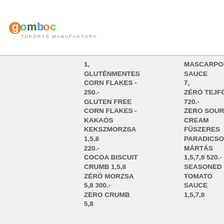[Figure (logo): Gomboc Tükörás Manufaktúra logo with colorful lettering]
1, GLUTÉNMENTES CORN FLAKES - 250.- GLUTEN FREE CORN FLAKES - KAKAÓS KEKSZMORZSA 1,5,8 220.- COCOA BISCUIT CRUMB 1,5,8 ZÉRÓ MORZSA 5,8 300.- ZERO CRUMB 5,8
MASCARPONE SAUCE 7, ZÉRÓ TEJFÖL 720.- ZERO SOUR CREAM FŰSZERES PARADICSOM MÁRTÁS 1,5,7,8 520.- SEASONED TOMATO SAUCE 1,5,7,8